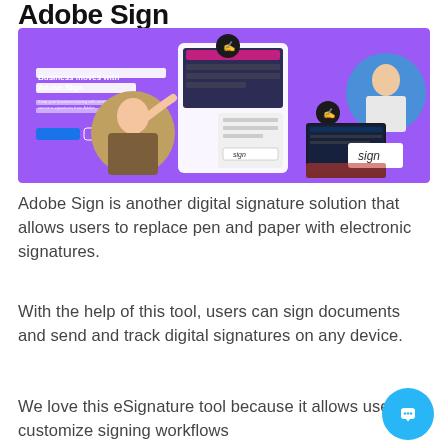Adobe Sign
[Figure (screenshot): Adobe Sign product screenshot showing the Adobe Sign website banner with purple background, featuring UI mockups, a person raising arm, a woman's portrait, and signature interface elements. Text on banner reads 'Business moves with Adobe Sign.']
Adobe Sign is another digital signature solution that allows users to replace pen and paper with electronic signatures.
With the help of this tool, users can sign documents and send and track digital signatures on any device.
We love this eSignature tool because it allows users to customize signing workflows